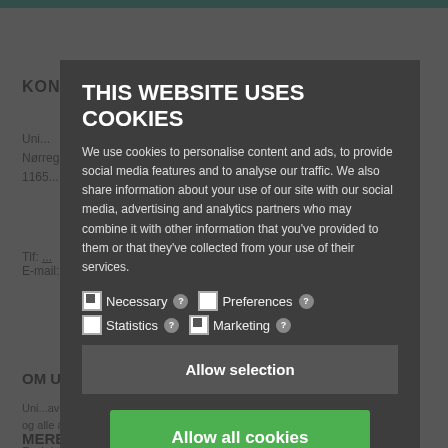KONTAKT UNIAVISEN
Nørregade 10
1165...
Tlf: ...
E-mail: uniavisen@uniavisen.dk
OM UNIAVISEN
Uniavisen er Københavns Universitets prisvindende, uafhængige avis til studerende og ansatte – og alle andre, der vil læse med. Læs mere om avisen her
MERE
Redaktionen
[Figure (screenshot): Cookie consent popup overlay on a Danish university news website. The modal reads 'THIS WEBSITE USES COOKIES' with body text about cookie usage, checkboxes for Necessary (checked), Preferences, Statistics, Marketing, an 'Allow selection' button, and a green 'Allow all cookies' button.]